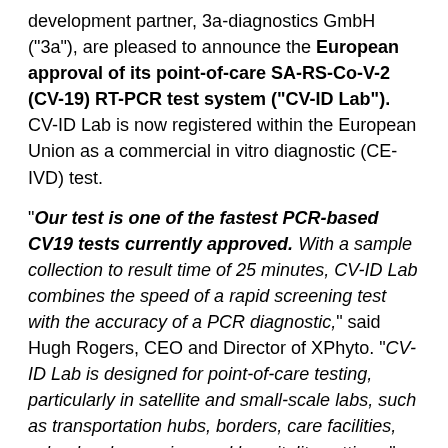development partner, 3a-diagnostics GmbH ("3a"), are pleased to announce the European approval of its point-of-care SA-RS-Co-V-2 (CV-19) RT-PCR test system ("CV-ID Lab"). CV-ID Lab is now registered within the European Union as a commercial in vitro diagnostic (CE-IVD) test.
"Our test is one of the fastest PCR-based CV19 tests currently approved. With a sample collection to result time of 25 minutes, CV-ID Lab combines the speed of a rapid screening test with the accuracy of a PCR diagnostic," said Hugh Rogers, CEO and Director of XPhyto. "CV-ID Lab is designed for point-of-care testing, particularly in satellite and small-scale labs, such as transportation hubs, borders, care facilities, schools, pharmacies, and hospitality settings."
[...]